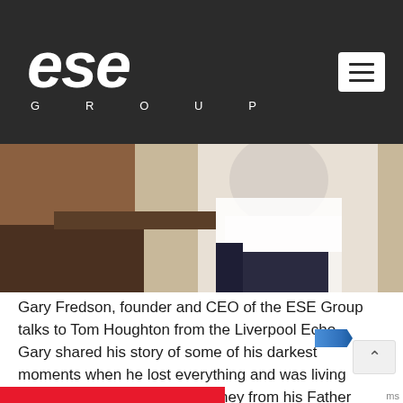[Figure (logo): ESE Group logo: large italic white 'ese' text with 'G R O U P' in spaced capitals below, on dark charcoal background. Hamburger menu icon (white box with three dark lines) in upper right.]
[Figure (photo): Photo of a person in a white dress shirt seated at a dark wooden table, photographed from behind/side, with dark chair visible.]
Gary Fredson, founder and CEO of the ESE Group talks to Tom Houghton from the Liverpool Echo. Gary shared his story of some of his darkest moments when he lost everything and was living on pot noodles, borrowing money from his Father to buy his daughter a birthday present, to bankruptcy, losing his car [...]